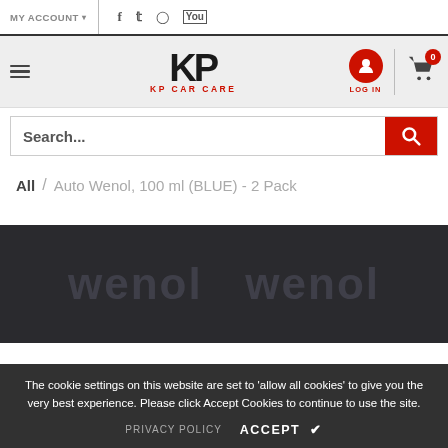MY ACCOUNT
[Figure (screenshot): KP Car Care logo with hamburger menu, login button, and cart icon]
Search...
All / Auto Wenol, 100 ml (BLUE) - 2 Pack
[Figure (photo): Auto Wenol product image in dark background]
The cookie settings on this website are set to 'allow all cookies' to give you the very best experience. Please click Accept Cookies to continue to use the site.
PRIVACY POLICY   ACCEPT ✔